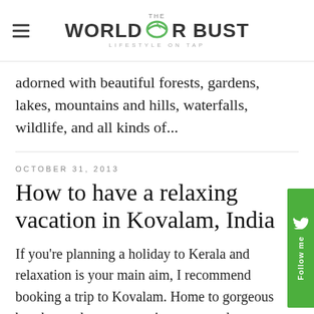THE WORLD OR BUST — LIFESTYLE ON TAP
adorned with beautiful forests, gardens, lakes, mountains and hills, waterfalls, wildlife, and all kinds of...
OCTOBER 31, 2013
How to have a relaxing vacation in Kovalam, India
If you're planning a holiday to Kerala and relaxation is your main aim, I recommend booking a trip to Kovalam. Home to gorgeous beaches and resorts to suit pretty much every budget, this is the place to